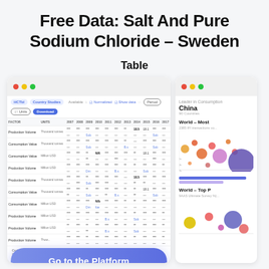Free Data: Salt And Pure Sodium Chloride – Sweden
Table
[Figure (screenshot): Screenshot of a data platform table showing production volume and consumption value data for Sweden, with toolbar options including Normalized, Show data, Period, Units, and Download buttons. Table rows show various metrics across years 2007–2021 with some values highlighted in blue as links.]
[Figure (screenshot): Right panel screenshot showing Leader in Consumption: China, 90 Countries label, World – Most section with bubble chart visualization, and World – Top section with another scatter/bubble chart.]